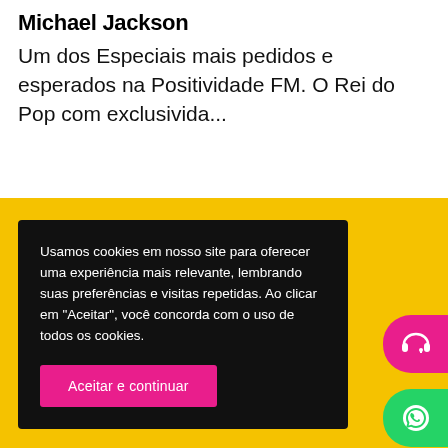Michael Jackson
Um dos Especiais mais pedidos e esperados na Positividade FM. O Rei do Pop com exclusivida...
Usamos cookies em nosso site para oferecer uma experiência mais relevante, lembrando suas preferências e visitas repetidas. Ao clicar em "Aceitar", você concorda com o uso de todos os cookies.
Aceitar e continuar